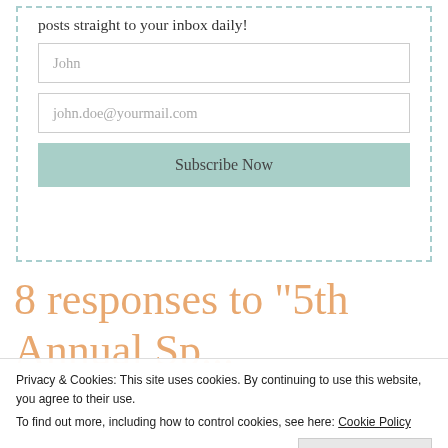posts straight to your inbox daily!
[Figure (screenshot): Email subscription form with two input fields (John placeholder, john.doe@yourmail.com placeholder) and a teal Subscribe Now button, inside a dashed border box]
8 responses to “5th Annual Sp...
Privacy & Cookies: This site uses cookies. By continuing to use this website, you agree to their use.
To find out more, including how to control cookies, see here: Cookie Policy
Close and accept
OMG!!! I’m going along reading, enjoying...